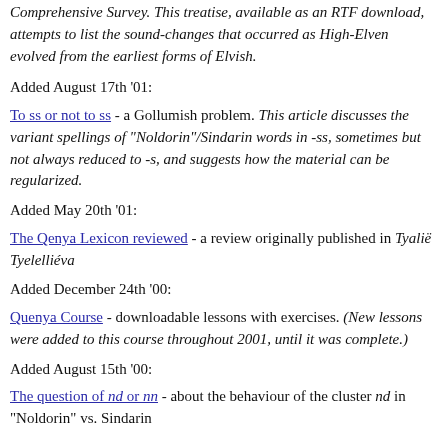Comprehensive Survey. This treatise, available as an RTF download, attempts to list the sound-changes that occurred as High-Elven evolved from the earliest forms of Elvish.
Added August 17th '01:
To ss or not to ss - a Gollumish problem. This article discusses the variant spellings of "Noldorin"/Sindarin words in -ss, sometimes but not always reduced to -s, and suggests how the material can be regularized.
Added May 20th '01:
The Qenya Lexicon reviewed - a review originally published in Tyalië Tyelelliéva
Added December 24th '00:
Quenya Course - downloadable lessons with exercises. (New lessons were added to this course throughout 2001, until it was complete.)
Added August 15th '00:
The question of nd or nn - about the behaviour of the cluster nd in "Noldorin" vs. Sindarin